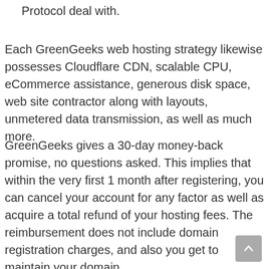Protocol deal with.
Each GreenGeeks web hosting strategy likewise possesses Cloudflare CDN, scalable CPU, eCommerce assistance, generous disk space, web site contractor along with layouts, unmetered data transmission, as well as much more.
GreenGeeks gives a 30-day money-back promise, no questions asked. This implies that within the very first 1 month after registering, you can cancel your account for any factor as well as acquire a total refund of your hosting fees. The reimbursement does not include domain registration charges, and also you get to maintain your domain.